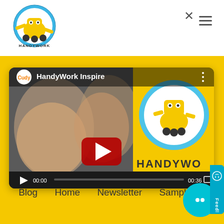[Figure (logo): HandyWork circular logo with robot character and text HANDYWORK]
[Figure (screenshot): YouTube video player showing HandyWork Inspire video with two smiling girls, Cudy channel icon, play button overlay, progress bar showing 00:00 / 00:36, and HandyWork logo on right half]
[Figure (other): Feedback tab on right side]
Blog
Home
Newsletter
Sample
[Figure (other): Teal circular chat button with two dots icon]